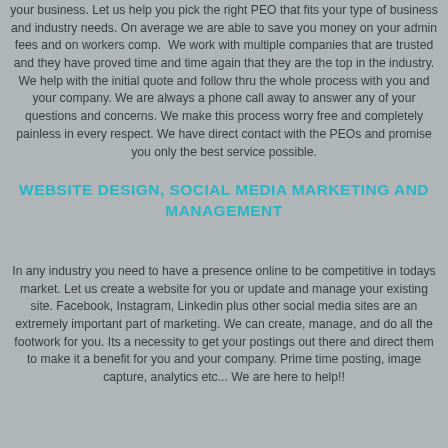your business. Let us help you pick the right PEO that fits your type of business and industry needs. On average we are able to save you money on your admin fees and on workers comp.  We work with multiple companies that are trusted and they have proved time and time again that they are the top in the industry. We help with the initial quote and follow thru the whole process with you and your company. We are always a phone call away to answer any of your questions and concerns. We make this process worry free and completely painless in every respect. We have direct contact with the PEOs and promise you only the best service possible.
WEBSITE DESIGN, SOCIAL MEDIA MARKETING AND MANAGEMENT
In any industry you need to have a presence online to be competitive in todays market. Let us create a website for you or update and manage your existing site. Facebook, Instagram, Linkedin plus other social media sites are an extremely important part of marketing. We can create, manage, and do all the footwork for you. Its a necessity to get your postings out there and direct them to make it a benefit for you and your company. Prime time posting, image capture, analytics etc... We are here to help!!